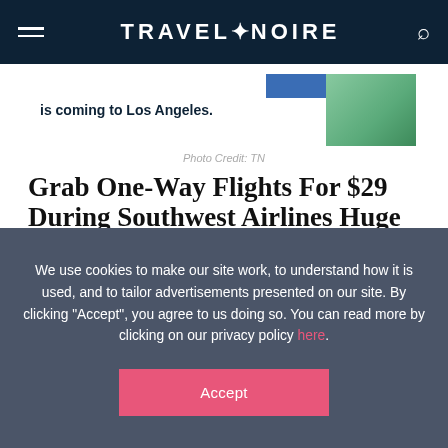TRAVEL + NOIRE
[Figure (screenshot): Banner image showing text 'is coming to Los Angeles.' with palm trees in background and a blue badge]
Photo Credit: TN
Grab One-Way Flights For $29 During Southwest Airlines Huge 10-Day Sale
We use cookies to make our site work, to understand how it is used, and to tailor advertisements presented on our site. By clicking “Accept”, you agree to us doing so. You can read more by clicking on our privacy policy here.